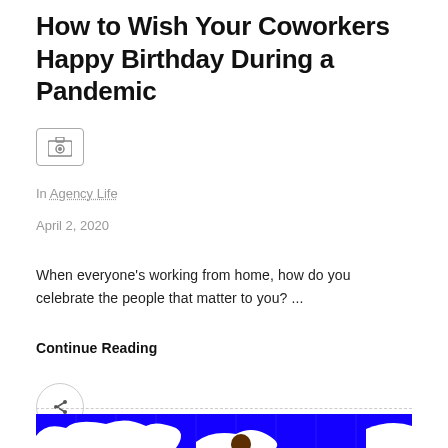How to Wish Your Coworkers Happy Birthday During a Pandemic
[Figure (illustration): Camera icon placeholder image]
In Agency Life
April 2, 2020
When everyone's working from home, how do you celebrate the people that matter to you? ...
Continue Reading
[Figure (illustration): Share button - circular icon with forward arrow]
[Figure (illustration): Bottom illustration showing blue grid background with white cloud-like shapes and a brown/dark figure, partially visible]